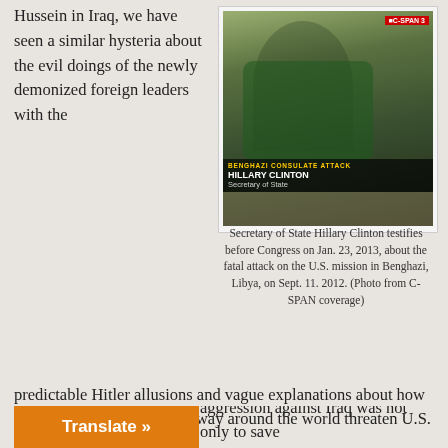Hussein in Iraq, we have seen a similar hysteria about the evil doings of the newly demonized foreign leaders with the
[Figure (photo): Screenshot of C-SPAN 3 coverage showing Secretary of State Hillary Clinton testifying before Congress, with lower-third graphic reading 'BENGHAZI CONSULATE ATTACK / HILLARY CLINTON / Secretary of State']
Secretary of State Hillary Clinton testifies before Congress on Jan. 23, 2013, about the fatal attack on the U.S. mission in Benghazi, Libya, on Sept. 11. 2012. (Photo from C-SPAN coverage)
predictable Hitler allusions and vague explanations about how some terrible misdeeds halfway around the world threaten U.S. interests.
Though people mostly remember the false WMD claims about Iraq, much of the case for the invasion was based on protecting “human rights,” spreading “democracy,” and eliminating a supporter of Palestinians who were violently resisting Israeli rule.
aggression against Iraq was not only to save